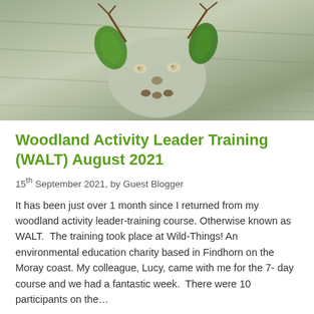[Figure (photo): A nature craft face made from natural materials — a round stone or clay base with leaf ears, twig antlers, small floral or lichen eyes, and seed/nut mouth pieces, set on a textured tree bark background.]
Woodland Activity Leader Training (WALT) August 2021
15th September 2021, by Guest Blogger
It has been just over 1 month since I returned from my woodland activity leader-training course. Otherwise known as WALT.  The training took place at Wild-Things! An environmental education charity based in Findhorn on the Moray coast. My colleague, Lucy, came with me for the 7- day course and we had a fantastic week.  There were 10 participants on the…
People Training and Wildlife